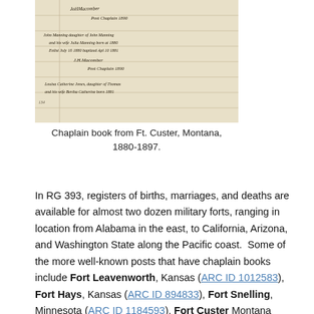[Figure (photo): Handwritten chaplain book page with cursive script showing baptism and birth records, including signatures of chaplains.]
Chaplain book from Ft. Custer, Montana, 1880-1897.
In RG 393, registers of births, marriages, and deaths are available for almost two dozen military forts, ranging in location from Alabama in the east, to California, Arizona, and Washington State along the Pacific coast.  Some of the more well-known posts that have chaplain books include Fort Leavenworth, Kansas (ARC ID 1012583), Fort Hays, Kansas (ARC ID 894833), Fort Snelling, Minnesota (ARC ID 1184593), Fort Custer Montana (ARC ID 657852), and Fort Union, New Mexico